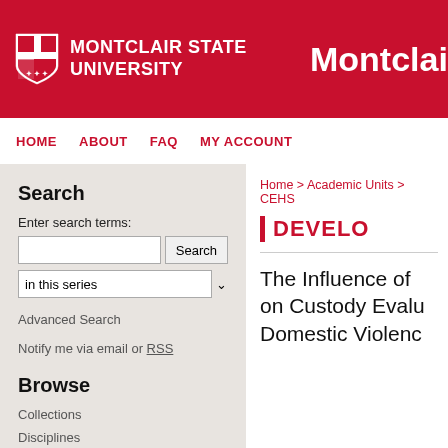[Figure (logo): Montclair State University shield logo and university name in white on red header background]
Montclair S
HOME   ABOUT   FAQ   MY ACCOUNT
Search
Enter search terms:
in this series
Advanced Search
Notify me via email or RSS
Browse
Collections
Disciplines
Authors
Home > Academic Units > CEHS
DEVELO
The Influence of on Custody Evalu Domestic Violenc